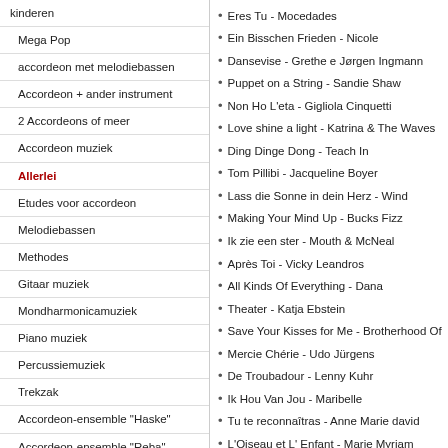kinderen
Mega Pop
accordeon met melodiebassen
Accordeon + ander instrument
2 Accordeons of meer
Accordeon muziek
Allerlei
Etudes voor accordeon
Melodiebassen
Methodes
Gitaar muziek
Mondharmonicamuziek
Piano muziek
Percussiemuziek
Trekzak
Accordeon-ensemble "Haske"
Accordeon-ensemble "Reba"
Sinterklaas en Kerst
Schouderbanden en rugriempjes
Rugzakken/ koffers
Percussie
Snaarinstrumenten en toebehoren
Eres Tu - Mocedades
Ein Bisschen Frieden - Nicole
Dansevise - Grethe e Jørgen Ingmann
Puppet on a String - Sandie Shaw
Non Ho L'eta - Gigliola Cinquetti
Love shine a light - Katrina & The Waves
Ding Dinge Dong - Teach In
Tom Pillibi - Jacqueline Boyer
Lass die Sonne in dein Herz - Wind
Making Your Mind Up - Bucks Fizz
Ik zie een ster - Mouth & McNeal
Après Toi - Vicky Leandros
All Kinds Of Everything - Dana
Theater - Katja Ebstein
Save Your Kisses for Me - Brotherhood Of
Mercie Chérie - Udo Jürgens
De Troubadour - Lenny Kuhr
Ik Hou Van Jou - Maribelle
Tu te reconnaîtras - Anne Marie david
L'Oiseau et L' Enfant - Marie Myriam
Beg, Steal or Borrow - New Seekers
Oui, Oui, Oui, Oui - Jean Philippe
Net Als Toen - Corry Brokken
Congratulations - Cliff Richard